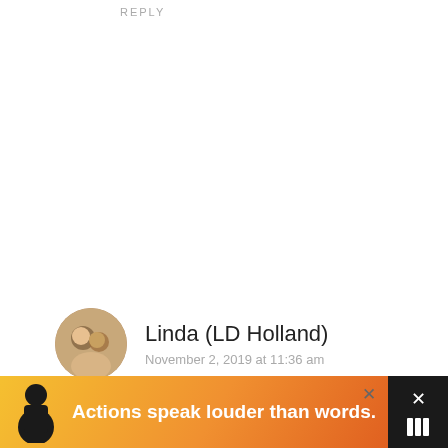REPLY
Linda (LD Holland)
November 2, 2019 at 11:36 am
I must admit that we do most of our flying with Air Canada. But when we head to SE Asia, we are always looking for local options. Good to know that Singapore Airlines is a good option. With lots of food! So great to hear that they don't nickel and dime you for things like pillows and blankets. You
[Figure (other): Advertisement banner at bottom: person silhouette with text 'Actions speak louder than words.']